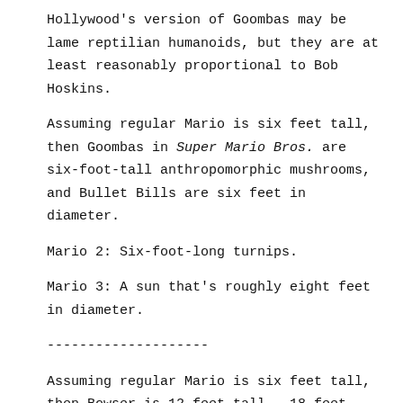Hollywood's version of Goombas may be lame reptilian humanoids, but they are at least reasonably proportional to Bob Hoskins.
Assuming regular Mario is six feet tall, then Goombas in Super Mario Bros. are six-foot-tall anthropomorphic mushrooms, and Bullet Bills are six feet in diameter.
Mario 2: Six-foot-long turnips.
Mario 3: A sun that's roughly eight feet in diameter.
--------------------
Assuming regular Mario is six feet tall, then Bowser is 12 feet tall – 18 feet tall in Mario 3, 24 feet tall in Mario World.
No way he fits in a go-kart...